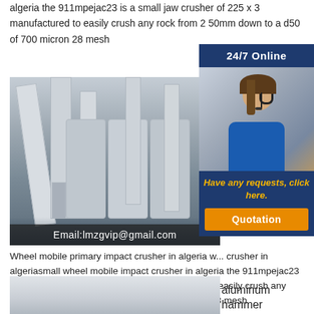algeria the 911mpejac23 is a small jaw crusher of 225 x 3 manufactured to easily crush any rock from 2 50mm down to a d50 of 700 micron 28 mesh
[Figure (photo): Industrial mill/crusher machinery in a large facility with vertical cylindrical units and piping, with email overlay text: Email:lmzgvip@gmail.com]
[Figure (photo): Sidebar with 24/7 Online header, customer service representative wearing headset, text 'Have any requests, click here.' and Quotation button]
Alge...
Impa...
Sale...
Prim...
Crus...
Wheel mobile primary impact crusher in algeria w... crusher in algeriasmall wheel mobile impact crusher in algeria the 911mpejac23 is a small jaw crusher of 225 x 3 manufactured to easily crush any rock from 2 50mm down to a d50 of 700 micron 28 mesh
[Figure (photo): Partial image of aluminum hammer or related machinery component at bottom of page]
aluminum hammer